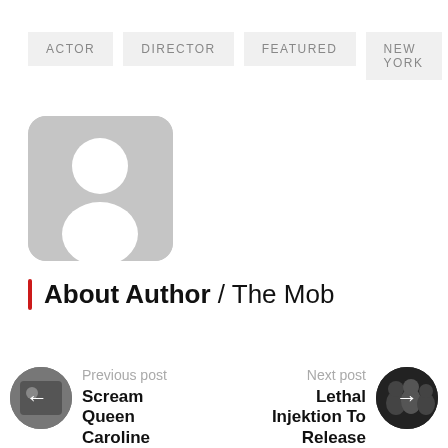ACTOR
DIRECTOR
FEATURED
NEW YORK
[Figure (illustration): Gray rounded-rectangle placeholder avatar with white silhouette of a person (head and shoulders)]
About Author / The Mob
Previous post
Scream Queen Caroline
Next post
Lethal Injektion To Release